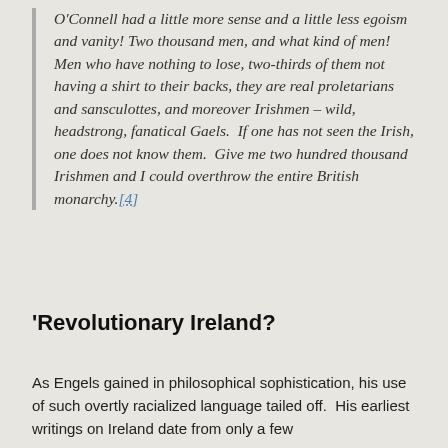O'Connell had a little more sense and a little less egoism and vanity! Two thousand men, and what kind of men! Men who have nothing to lose, two-thirds of them not having a shirt to their backs, they are real proletarians and sansculottes, and moreover Irishmen – wild, headstrong, fanatical Gaels. If one has not seen the Irish, one does not know them. Give me two hundred thousand Irishmen and I could overthrow the entire British monarchy.[4]
'Revolutionary Ireland?
As Engels gained in philosophical sophistication, his use of such overtly racialized language tailed off. His earliest writings on Ireland date from only a few